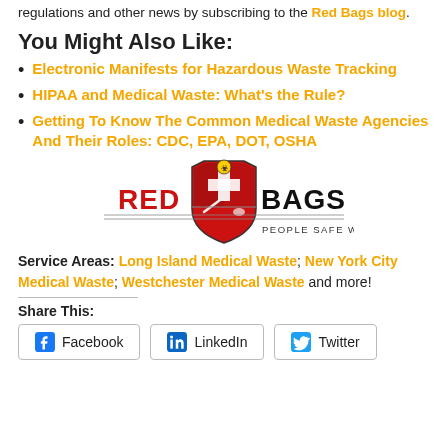regulations and other news by subscribing to the Red Bags blog.
You Might Also Like:
Electronic Manifests for Hazardous Waste Tracking
HIPAA and Medical Waste: What’s the Rule?
Getting To Know The Common Medical Waste Agencies And Their Roles: CDC, EPA, DOT, OSHA
[Figure (logo): Red Bags logo with shield containing biohazard symbol, cross, syringe, and pills. Text reads RED BAGS PEOPLE SAFE WASTE]
Service Areas: Long Island Medical Waste; New York City Medical Waste; Westchester Medical Waste and more!
Share This:
Facebook  LinkedIn  Twitter